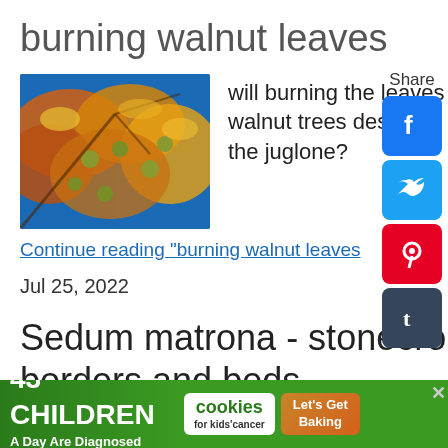burning walnut leaves
[Figure (photo): Photo of walnut tree branches with yellow-orange leaves and green walnuts against blue sky]
will burning the leaves from walnut trees destroy the juglone?
Continue reading "burning walnut leaves
Jul 25, 2022
Sedum matrona - stonecrop for borders and beds
Sedum matrona
Sedum matrona is as the name suggests, rather
[Figure (screenshot): Advertisement banner: 43 CHILDREN A Day Are Diagnosed With Cancer in the U.S. | cookies for kids cancer | Let's Get Baking]